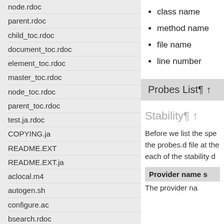node.rdoc
parent.rdoc
child_toc.rdoc
document_toc.rdoc
element_toc.rdoc
master_toc.rdoc
node_toc.rdoc
parent_toc.rdoc
test.ja.rdoc
COPYING.ja
README.EXT
README.EXT.ja
aclocal.m4
autogen.sh
configure.ac
bsearch.rdoc
bug_triaging.rdoc
case_mapping.rdoc
contributing.rdoc
io.rdoc
col_sep.rdoc
class name
method name
file name
line number
Probes List¶ ↑
Stability¶ ↑
Before we list the spe the probes.d file at the each of the stability d
| Provider name s |
| --- |
| The provider na |